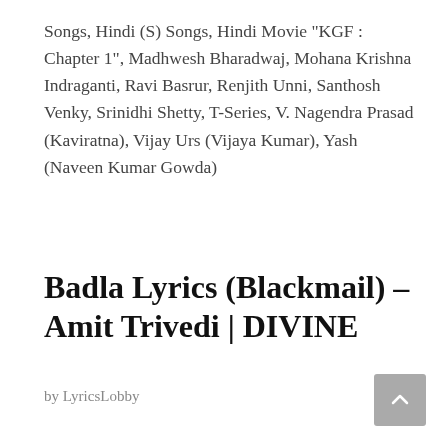Songs, Hindi (S) Songs, Hindi Movie "KGF : Chapter 1", Madhwesh Bharadwaj, Mohana Krishna Indraganti, Ravi Basrur, Renjith Unni, Santhosh Venky, Srinidhi Shetty, T-Series, V. Nagendra Prasad (Kaviratna), Vijay Urs (Vijaya Kumar), Yash (Naveen Kumar Gowda)
Badla Lyrics (Blackmail) – Amit Trivedi | DIVINE
by LyricsLobby